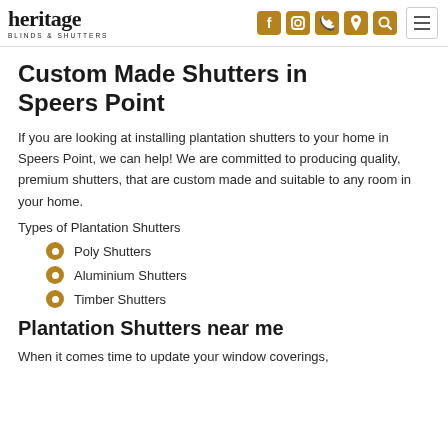Heritage Blinds & Shutters — navigation header with logo and icons
Custom Made Shutters in Speers Point
If you are looking at installing plantation shutters to your home in Speers Point, we can help! We are committed to producing quality, premium shutters, that are custom made and suitable to any room in your home.
Types of Plantation Shutters
Poly Shutters
Aluminium Shutters
Timber Shutters
Plantation Shutters near me
When it comes time to update your window coverings,